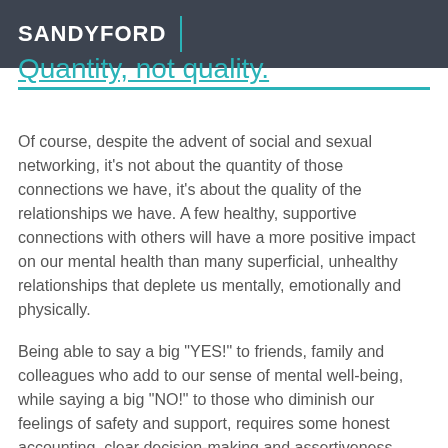SANDYFORD
Quantity, not quality.
Of course, despite the advent of social and sexual networking, it’s not about the quantity of those connections we have, it’s about the quality of the relationships we have. A few healthy, supportive connections with others will have a more positive impact on our mental health than many superficial, unhealthy relationships that deplete us mentally, emotionally and physically.
Being able to say a big “YES!” to friends, family and colleagues who add to our sense of mental well-being, while saying a big “NO!” to those who diminish our feelings of safety and support, requires some honest accounting, clear decision-making and assertiveness.
Choosing relationships that matter